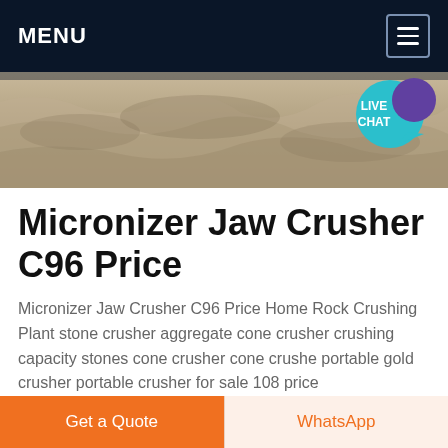MENU
[Figure (photo): Aerial or close-up photo of crushed rock/gravel surface with a 'LIVE CHAT' badge in the upper right corner]
Micronizer Jaw Crusher C96 Price
Micronizer Jaw Crusher C96 Price Home Rock Crushing Plant stone crusher aggregate cone crusher crushing capacity stones cone crusher cone crushe portable gold crusher portable crusher for sale 108 price
Get price
Get a Quote
WhatsApp